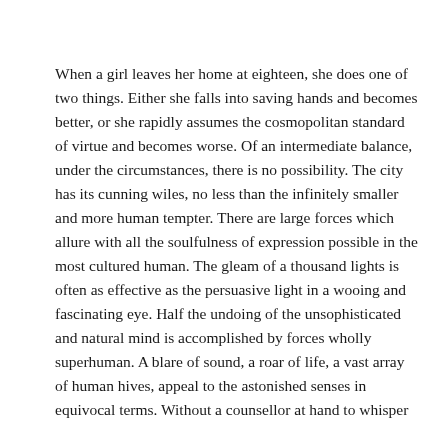When a girl leaves her home at eighteen, she does one of two things. Either she falls into saving hands and becomes better, or she rapidly assumes the cosmopolitan standard of virtue and becomes worse. Of an intermediate balance, under the circumstances, there is no possibility. The city has its cunning wiles, no less than the infinitely smaller and more human tempter. There are large forces which allure with all the soulfulness of expression possible in the most cultured human. The gleam of a thousand lights is often as effective as the persuasive light in a wooing and fascinating eye. Half the undoing of the unsophisticated and natural mind is accomplished by forces wholly superhuman. A blare of sound, a roar of life, a vast array of human hives, appeal to the astonished senses in equivocal terms. Without a counsellor at hand to whisper